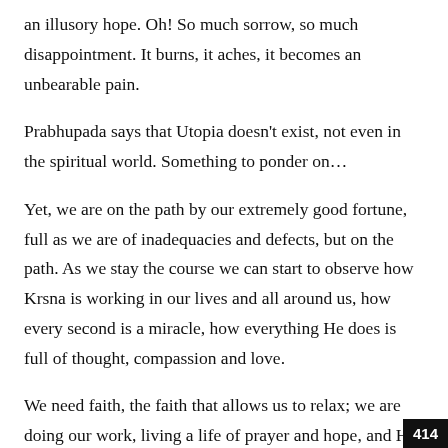an illusory hope. Oh! So much sorrow, so much disappointment. It burns, it aches, it becomes an unbearable pain.
Prabhupada says that Utopia doesn't exist, not even in the spiritual world. Something to ponder on…
Yet, we are on the path by our extremely good fortune, full as we are of inadequacies and defects, but on the path. As we stay the course we can start to observe how Krsna is working in our lives and all around us, how every second is a miracle, how everything He does is full of thought, compassion and love.
We need faith, the faith that allows us to relax; we are doing our work, living a life of prayer and hope, and He is taking care of everything to the smallest, minutest detail
414